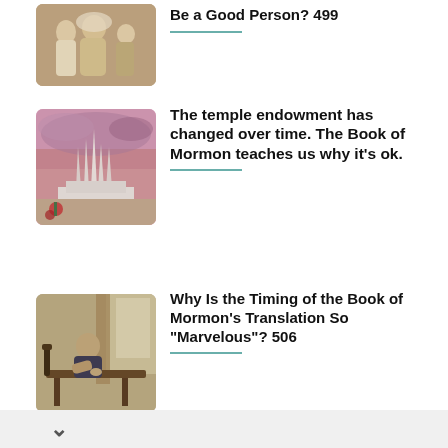[Figure (photo): Biblical scene with robed figures, Jesus with disciples]
Be a Good Person? 499
[Figure (photo): LDS temple at sunset with pink and purple sky]
The temple endowment has changed over time. The Book of Mormon teaches us why it's ok.
[Figure (photo): Man sitting at a desk writing, historical painting style]
Why Is the Timing of the Book of Mormon’s Translation So “Marvelous”? 506